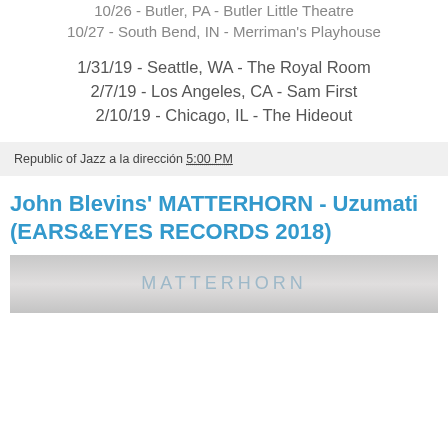10/26 - Butler, PA - Butler Little Theatre
10/27 - South Bend, IN - Merriman's Playhouse
1/31/19 - Seattle, WA - The Royal Room
2/7/19 - Los Angeles, CA - Sam First
2/10/19 - Chicago, IL - The Hideout
Republic of Jazz a la dirección 5:00 PM
John Blevins' MATTERHORN - Uzumati (EARS&EYES RECORDS 2018)
[Figure (photo): Album cover image for MATTERHORN with text 'MATTERHORN' visible on a grey background]